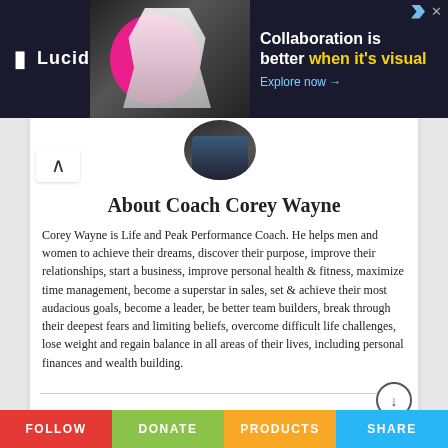[Figure (screenshot): Lucid advertisement banner with dark background, pink circle graphic, person silhouette, and text 'Collaboration is better when it's visual. Explore now →']
About Coach Corey Wayne
Corey Wayne is Life and Peak Performance Coach. He helps men and women to achieve their dreams, discover their purpose, improve their relationships, start a business, improve personal health & fitness, maximize time management, become a superstar in sales, set & achieve their most audacious goals, become a leader, be better team builders, break through their deepest fears and limiting beliefs, overcome difficult life challenges, lose weight and regain balance in all areas of their lives, including personal finances and wealth building.
FOLLOW   DONATE   PRODUCTS   SHARE